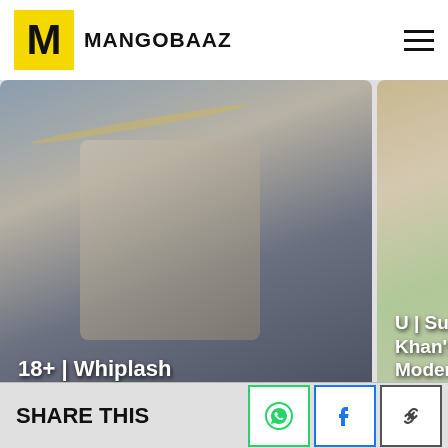MANGOBAAZ
[Figure (screenshot): Horizontal scrollable video strip with three thumbnail cards: '18+ | Whiplash', 'U | Sussanne Khan's Chic Yet Modern Home', 'U/A 16+ | Val... Couture A F... Colour In Ro...']
Made in Firework
[Figure (screenshot): Firework advertisement banner with dark background showing 'Firework' logo and text 'Infinite Storytelling']
SHARE THIS